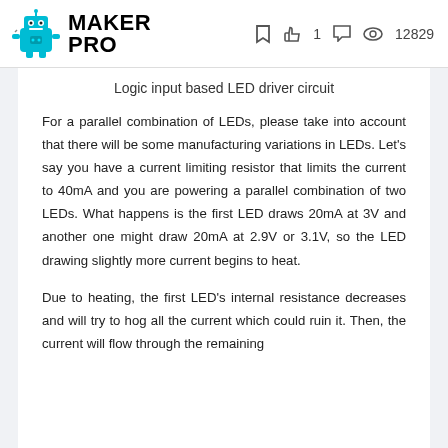MAKER PRO | 1 | 12829
Logic input based LED driver circuit
For a parallel combination of LEDs, please take into account that there will be some manufacturing variations in LEDs. Let's say you have a current limiting resistor that limits the current to 40mA and you are powering a parallel combination of two LEDs. What happens is the first LED draws 20mA at 3V and another one might draw 20mA at 2.9V or 3.1V, so the LED drawing slightly more current begins to heat.
Due to heating, the first LED's internal resistance decreases and will try to hog all the current which could ruin it. Then, the current will flow through the remaining